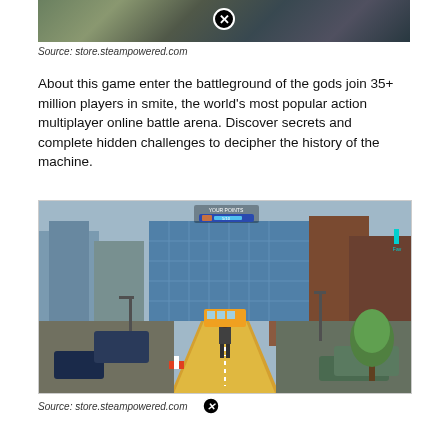[Figure (screenshot): Top portion of a game screenshot showing outdoor scene with a close button (X) overlay]
Source: store.steampowered.com
About this game enter the battleground of the gods join 35+ million players in smite, the world's most popular action multiplayer online battle arena. Discover secrets and complete hidden challenges to decipher the history of the machine.
[Figure (screenshot): Game screenshot showing a third-person view of a character standing on a yellow road in a city environment with buildings on both sides, a HUD showing 'YOUR POINTS' and progress bar]
Source: store.steampowered.com